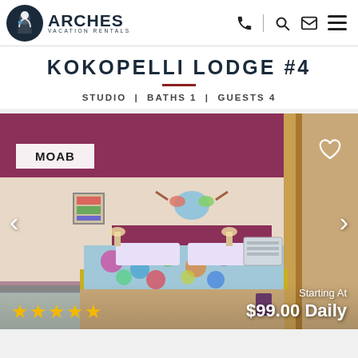ARCHES VACATION RENTALS
KOKOPELLI LODGE #4
STUDIO | BATHS 1 | GUESTS 4
[Figure (photo): Interior photo of a vacation rental studio room with a colorful patterned bed, purple/maroon headboard and ceiling accent, wall art of a colorful bull skull, wall-mounted AC unit, wooden door frame on right. Badge overlay reading MOAB, heart icon, left/right navigation arrows, 5-star rating, and price Starting At $99.00 Daily.]